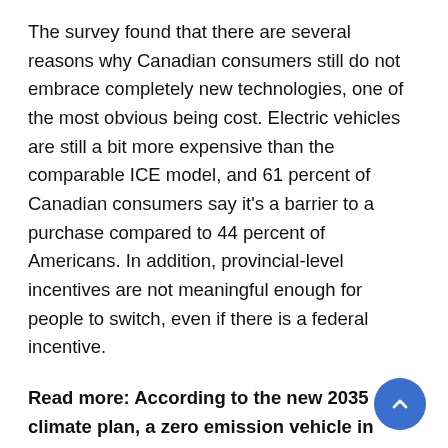The survey found that there are several reasons why Canadian consumers still do not embrace completely new technologies, one of the most obvious being cost. Electric vehicles are still a bit more expensive than the comparable ICE model, and 61 percent of Canadian consumers say it's a barrier to a purchase compared to 44 percent of Americans. In addition, provincial-level incentives are not meaningful enough for people to switch, even if there is a federal incentive.
Read more: According to the new 2035 climate plan, a zero emission vehicle in Canada may still have a tailpipe